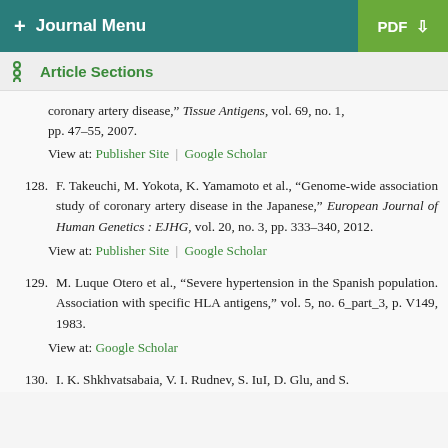+ Journal Menu | PDF
Article Sections
coronary artery disease," Tissue Antigens, vol. 69, no. 1, pp. 47–55, 2007. View at: Publisher Site | Google Scholar
128. F. Takeuchi, M. Yokota, K. Yamamoto et al., "Genome-wide association study of coronary artery disease in the Japanese," European Journal of Human Genetics : EJHG, vol. 20, no. 3, pp. 333–340, 2012. View at: Publisher Site | Google Scholar
129. M. Luque Otero et al., "Severe hypertension in the Spanish population. Association with specific HLA antigens," vol. 5, no. 6_part_3, p. V149, 1983. View at: Google Scholar
130. I. K. Shkhvatsabaia, V. I. Rudnev, S. IuI, D. Glu, and S.